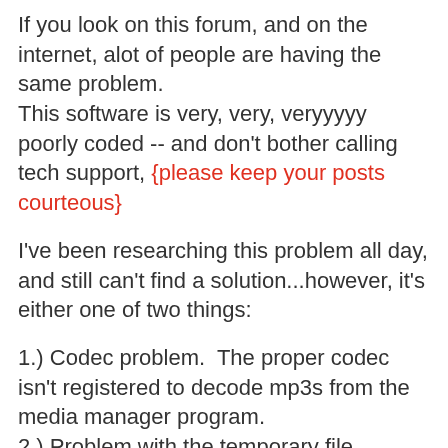If you look on this forum, and on the internet, alot of people are having the same problem.
This software is very, very, veryyyyy poorly coded -- and don't bother calling tech support, {please keep your posts courteous}
I've been researching this problem all day, and still can't find a solution...however, it's either one of two things:
1.) Codec problem.  The proper codec isn't registered to decode mp3s from the media manager program.
2.) Problem with the temporary file directory (which seems to be the issue for me).
Post this log for me, and I'll see if I can help you:
If on XP, C:\Documents and